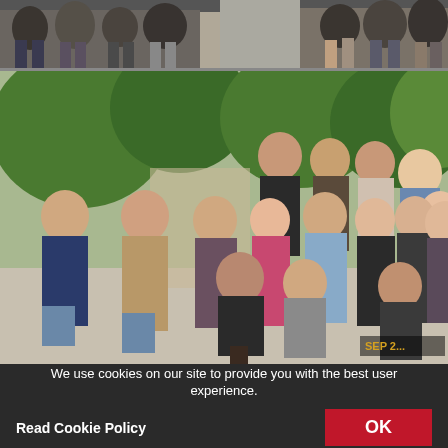[Figure (photo): Group photo at top — people seated and standing in a row, partial crop showing legs and lower bodies]
[Figure (photo): Large group photo outdoors with trees in background — approximately 20 adults standing and kneeling in multiple rows on a paved area, wearing name tags, casual to smart-casual attire]
We use cookies on our site to provide you with the best user experience.
Read Cookie Policy
OK